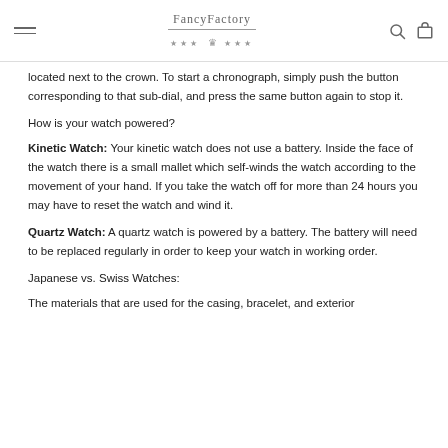FancyFactory
located next to the crown. To start a chronograph, simply push the button corresponding to that sub-dial, and press the same button again to stop it.
How is your watch powered?
Kinetic Watch: Your kinetic watch does not use a battery. Inside the face of the watch there is a small mallet which self-winds the watch according to the movement of your hand. If you take the watch off for more than 24 hours you may have to reset the watch and wind it.
Quartz Watch: A quartz watch is powered by a battery. The battery will need to be replaced regularly in order to keep your watch in working order.
Japanese vs. Swiss Watches:
The materials that are used for the casing, bracelet, and exterior